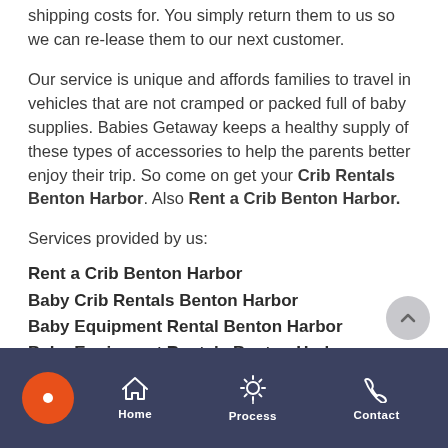shipping costs for. You simply return them to us so we can re-lease them to our next customer.
Our service is unique and affords families to travel in vehicles that are not cramped or packed full of baby supplies. Babies Getaway keeps a healthy supply of these types of accessories to help the parents better enjoy their trip. So come on get your Crib Rentals Benton Harbor. Also Rent a Crib Benton Harbor.
Services provided by us:
Rent a Crib Benton Harbor
Baby Crib Rentals Benton Harbor
Baby Equipment Rental Benton Harbor
Baby Equipment Rentals Benton Harbor
Home   Process   Contact